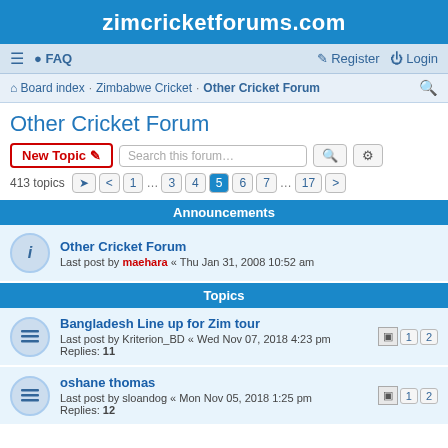zimcricketforums.com
≡  FAQ    Register  Login
Board index · Zimbabwe Cricket · Other Cricket Forum
Other Cricket Forum
New Topic  Search this forum…
413 topics  1 … 3 4 5 6 7 … 17
Announcements
Other Cricket Forum
Last post by maehara « Thu Jan 31, 2008 10:52 am
Topics
Bangladesh Line up for Zim tour
Last post by Kriterion_BD « Wed Nov 07, 2018 4:23 pm
Replies: 11
oshane thomas
Last post by sloandog « Mon Nov 05, 2018 1:25 pm
Replies: 12